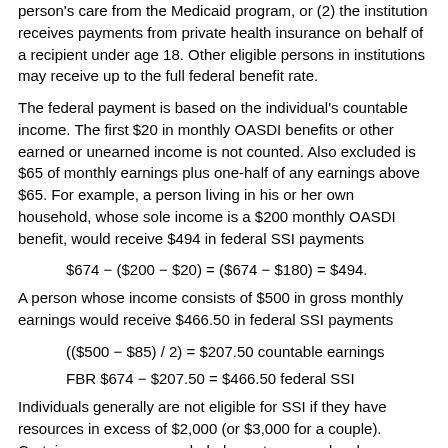person's care from the Medicaid program, or (2) the institution receives payments from private health insurance on behalf of a recipient under age 18. Other eligible persons in institutions may receive up to the full federal benefit rate.
The federal payment is based on the individual's countable income. The first $20 in monthly OASDI benefits or other earned or unearned income is not counted. Also excluded is $65 of monthly earnings plus one-half of any earnings above $65. For example, a person living in his or her own household, whose sole income is a $200 monthly OASDI benefit, would receive $494 in federal SSI payments
A person whose income consists of $500 in gross monthly earnings would receive $466.50 in federal SSI payments
Individuals generally are not eligible for SSI if they have resources in excess of $2,000 (or $3,000 for a couple). Certain resources are excluded, most commonly a home, an